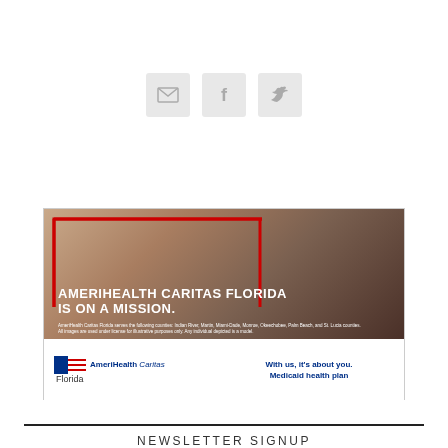[Figure (other): Three social media icon boxes: envelope/email, Facebook f, and Twitter bird, displayed as grey square buttons]
[Figure (illustration): AmeriHealth Caritas Florida advertisement. Shows a smiling woman with a child, red border box overlay, headline text 'AMERIHEALTH CARITAS FLORIDA IS ON A MISSION.', AmeriHealth Caritas Florida logo, and tagline 'With us, it's about you. Medicaid health plan']
NEWSLETTER SIGNUP